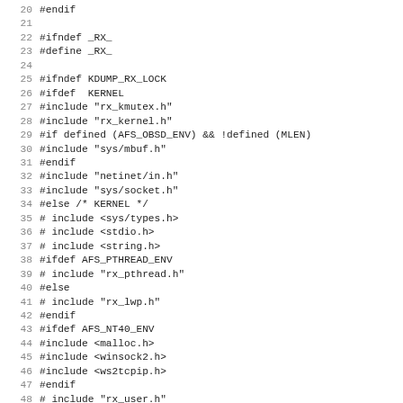Code listing lines 20-51: C preprocessor directives for rx header file
20 #endif
21
22 #ifndef _RX_
23 #define _RX_
24
25 #ifndef KDUMP_RX_LOCK
26 #ifdef  KERNEL
27 #include "rx_kmutex.h"
28 #include "rx_kernel.h"
29 #if defined (AFS_OBSD_ENV) && !defined (MLEN)
30 #include "sys/mbuf.h"
31 #endif
32 #include "netinet/in.h"
33 #include "sys/socket.h"
34 #else /* KERNEL */
35 # include <sys/types.h>
36 # include <stdio.h>
37 # include <string.h>
38 #ifdef AFS_PTHREAD_ENV
39 # include "rx_pthread.h"
40 #else
41 # include "rx_lwp.h"
42 #endif
43 #ifdef AFS_NT40_ENV
44 #include <malloc.h>
45 #include <winsock2.h>
46 #include <ws2tcpip.h>
47 #endif
48 # include "rx_user.h"
49 #ifndef AFS_NT40_ENV
50 # include <netinet/in.h>
51 # include <sys/socket.h>